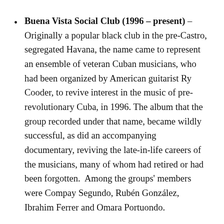Buena Vista Social Club (1996 – present) – Originally a popular black club in the pre-Castro, segregated Havana, the name came to represent an ensemble of veteran Cuban musicians, who had been organized by American guitarist Ry Cooder, to revive interest in the music of pre-revolutionary Cuba, in 1996. The album that the group recorded under that name, became wildly successful, as did an accompanying documentary, reviving the late-in-life careers of the musicians, many of whom had retired or had been forgotten. Among the groups' members were Compay Segundo, Rubén González, Ibrahim Ferrer and Omara Portuondo.